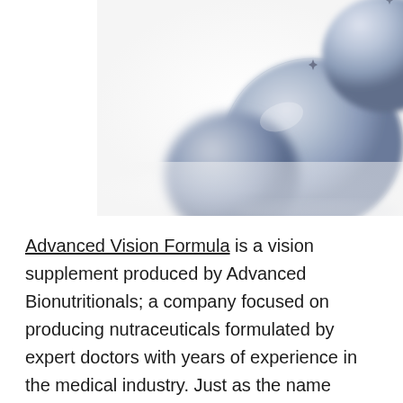[Figure (photo): Close-up photo of blueberries on a white background, positioned in the upper right of the page]
Advanced Vision Formula is a vision supplement produced by Advanced Bionutritionals; a company focused on producing nutraceuticals formulated by expert doctors with years of experience in the medical industry. Just as the name sounds,